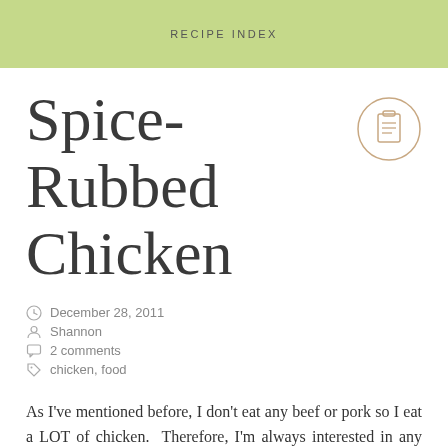RECIPE INDEX
Spice-Rubbed Chicken
December 28, 2011
Shannon
2 comments
chicken, food
As I've mentioned before, I don't eat any beef or pork so I eat a LOT of chicken.  Therefore, I'm always interested in any new way to prepare chicken that's not boring or ho-hum.  I have a fully stocked spice cabinet so this recipe for Spice-Rubbed Chicken…